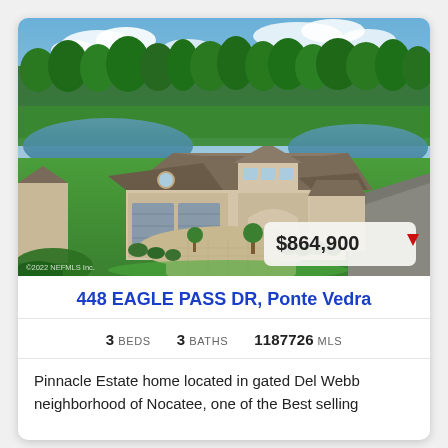[Figure (photo): Aerial view of a large single-story home with brown hip roofs, three-car garage, paver driveway, manicured landscaping, green lawn, and a pond with pine trees in the background. Price badge '$864,900' with red down arrow in lower right corner. Watermark '©2022 NEFMLS Inc.' in lower left.]
448 EAGLE PASS DR, Ponte Vedra
3 BEDS   3 BATHS   1187726 MLS
Pinnacle Estate home located in gated Del Webb neighborhood of Nocatee, one of the Best selling